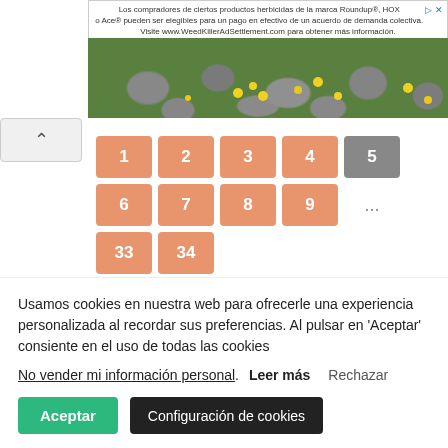[Figure (screenshot): Advertisement banner for WeedKillerAdSettlement.com in Spanish, with a photo of stones and yellow flowers]
[Figure (infographic): Pagination navigation with numbered buttons 1-43 (current page 5 highlighted in grey), salmon/orange colored buttons]
Usamos cookies en nuestra web para ofrecerle una experiencia personalizada al recordar sus preferencias. Al pulsar en 'Aceptar' consiente en el uso de todas las cookies
No vender mi información personal. Leer más Rechazar
Aceptar   Configuración de cookies